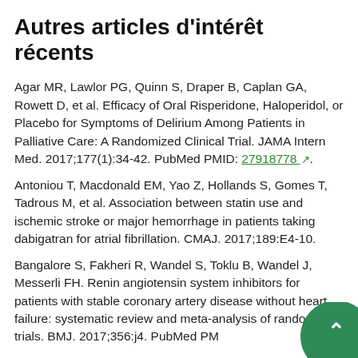Autres articles d'intérêt récents
Agar MR, Lawlor PG, Quinn S, Draper B, Caplan GA, Rowett D, et al. Efficacy of Oral Risperidone, Haloperidol, or Placebo for Symptoms of Delirium Among Patients in Palliative Care: A Randomized Clinical Trial. JAMA Intern Med. 2017;177(1):34-42. PubMed PMID: 27918778.
Antoniou T, Macdonald EM, Yao Z, Hollands S, Gomes T, Tadrous M, et al. Association between statin use and ischemic stroke or major hemorrhage in patients taking dabigatran for atrial fibrillation. CMAJ. 2017;189:E4-10.
Bangalore S, Fakheri R, Wandel S, Toklu B, Wandel J, Messerli FH. Renin angiotensin system inhibitors for patients with stable coronary artery disease without heart failure: systematic review and meta-analysis of randomized trials. BMJ. 2017;356:j4. PubMed PM